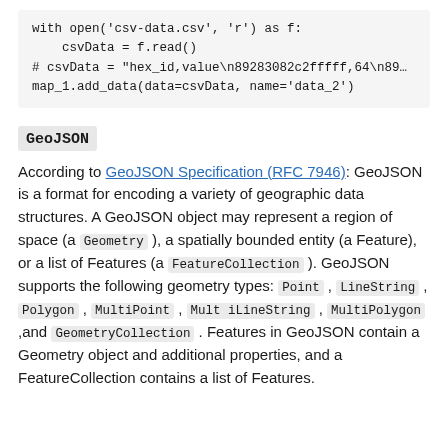with open('csv-data.csv', 'r') as f:
    csvData = f.read()
# csvData = "hex_id,value\n89283082c2fffff,64\n89...
 map_1.add_data(data=csvData, name='data_2')
GeoJSON
According to GeoJSON Specification (RFC 7946): GeoJSON is a format for encoding a variety of geographic data structures. A GeoJSON object may represent a region of space (a Geometry ), a spatially bounded entity (a Feature), or a list of Features (a FeatureCollection ). GeoJSON supports the following geometry types: Point , LineString , Polygon , MultiPoint , MultiLineString , MultiPolygon ,and GeometryCollection . Features in GeoJSON contain a Geometry object and additional properties, and a FeatureCollection contains a list of Features.